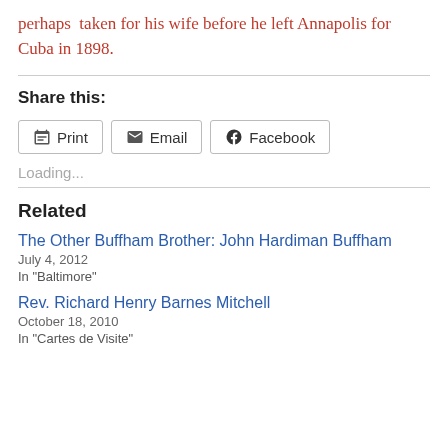perhaps  taken for his wife before he left Annapolis for Cuba in 1898.
Share this:
Print  Email  Facebook
Loading...
Related
The Other Buffham Brother: John Hardiman Buffham
July 4, 2012
In "Baltimore"
Rev. Richard Henry Barnes Mitchell
October 18, 2010
In "Cartes de Visite"